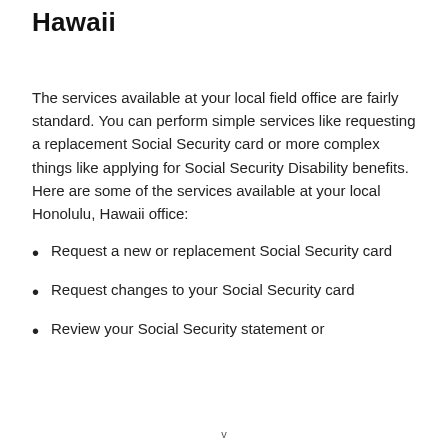Hawaii
The services available at your local field office are fairly standard. You can perform simple services like requesting a replacement Social Security card or more complex things like applying for Social Security Disability benefits. Here are some of the services available at your local Honolulu, Hawaii office:
Request a new or replacement Social Security card
Request changes to your Social Security card
Review your Social Security statement or